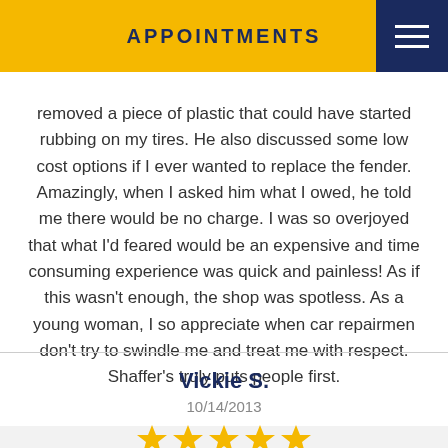APPOINTMENTS
removed a piece of plastic that could have started rubbing on my tires. He also discussed some low cost options if I ever wanted to replace the fender. Amazingly, when I asked him what I owed, he told me there would be no charge. I was so overjoyed that what I'd feared would be an expensive and time consuming experience was quick and painless! As if this wasn't enough, the shop was spotless. As a young woman, I so appreciate when car repairmen don't try to swindle me and treat me with respect. Shaffer's truly puts people first.
Vickie S.
10/14/2013
[Figure (other): Five gold star rating icons]